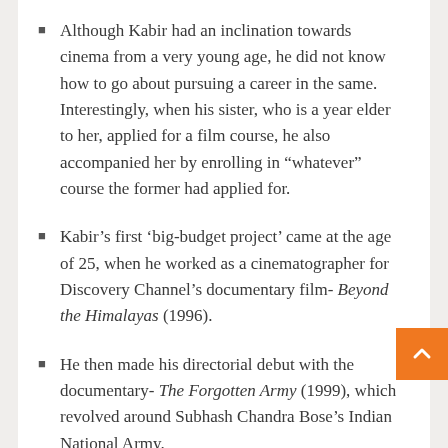Although Kabir had an inclination towards cinema from a very young age, he did not know how to go about pursuing a career in the same. Interestingly, when his sister, who is a year elder to her, applied for a film course, he also accompanied her by enrolling in “whatever” course the former had applied for.
Kabir’s first ‘big-budget project’ came at the age of 25, when he worked as a cinematographer for Discovery Channel’s documentary film- Beyond the Himalayas (1996).
He then made his directorial debut with the documentary- The Forgotten Army (1999), which revolved around Subhash Chandra Bose’s Indian National Army.
However, his interest soon started deviating towards